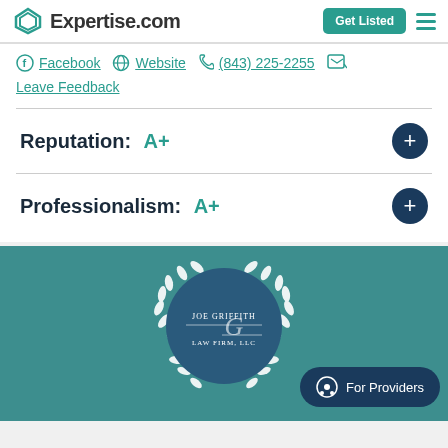Expertise.com
Facebook  Website  (843) 225-2255
Leave Feedback
Reputation:  A+
Professionalism:  A+
[Figure (logo): Joe Griffith Law Firm LLC badge logo with laurel wreath on teal background]